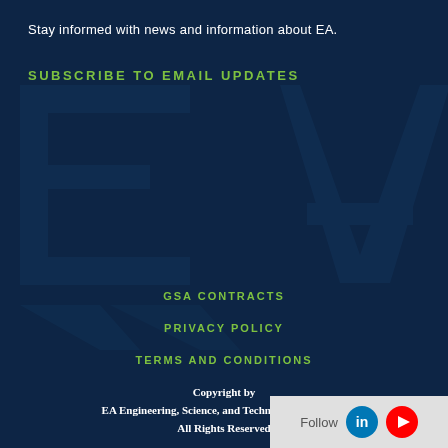Stay informed with news and information about EA.
SUBSCRIBE TO EMAIL UPDATES
[Figure (logo): EA Engineering watermark logo in background, large stylized letters E and A with triangular/chevron shapes, semi-transparent dark teal on dark navy background]
GSA CONTRACTS
PRIVACY POLICY
TERMS AND CONDITIONS
Copyright by
EA Engineering, Science, and Technology, Inc., PBC
All Rights Reserved
Follow